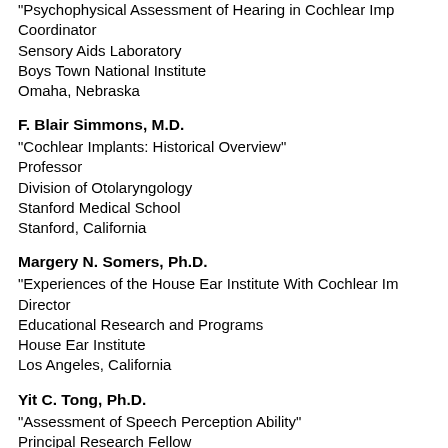"Psychophysical Assessment of Hearing in Cochlear Imp…
Coordinator
Sensory Aids Laboratory
Boys Town National Institute
Omaha, Nebraska
F. Blair Simmons, M.D.
"Cochlear Implants: Historical Overview"
Professor
Division of Otolaryngology
Stanford Medical School
Stanford, California
Margery N. Somers, Ph.D.
"Experiences of the House Ear Institute With Cochlear Im…
Director
Educational Research and Programs
House Ear Institute
Los Angeles, California
Yit C. Tong, Ph.D.
"Assessment of Speech Perception Ability"
Principal Research Fellow
National Health and Medical Research
Council of Australia
Department of Otolaryngology